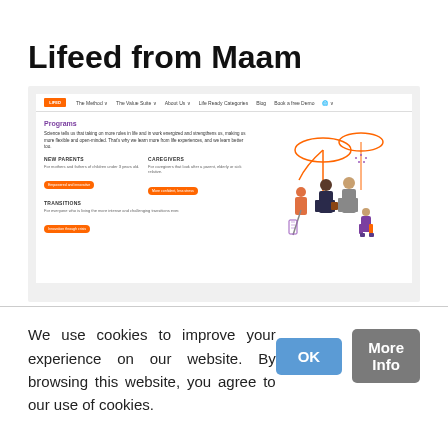Lifeed from Maam
[Figure (screenshot): Screenshot of the Lifeed website showing the Programs page with navigation bar, Programs section with description, New Parents and Caregivers sub-sections with orange CTA buttons, Transitions section, and an illustration of a family group with umbrellas on the right side.]
We use cookies to improve your experience on our website. By browsing this website, you agree to our use of cookies.